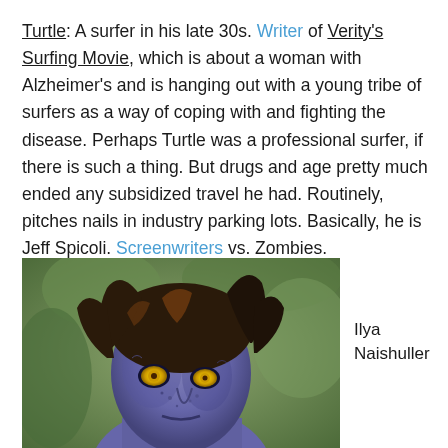Turtle: A surfer in his late 30s. Writer of Verity's Surfing Movie, which is about a woman with Alzheimer's and is hanging out with a young tribe of surfers as a way of coping with and fighting the disease. Perhaps Turtle was a professional surfer, if there is such a thing. But drugs and age pretty much ended any subsidized travel he had. Routinely, pitches nails in industry parking lots. Basically, he is Jeff Spicoli. Screenwriters vs. Zombies.
[Figure (photo): Photo of a woman styled as a zombie with pale bluish-purple skin, disheveled brown hair, and glowing yellow eyes, set against a blurred green outdoor background.]
Ilya Naishuller